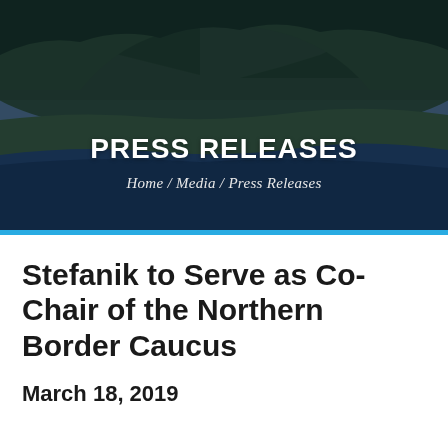[Figure (photo): Hero banner image showing a river valley with lush green forested hills, a river in the foreground, and a dark overlay with 'PRESS RELEASES' heading and breadcrumb navigation 'Home / Media / Press Releases']
Stefanik to Serve as Co-Chair of the Northern Border Caucus
March 18, 2019